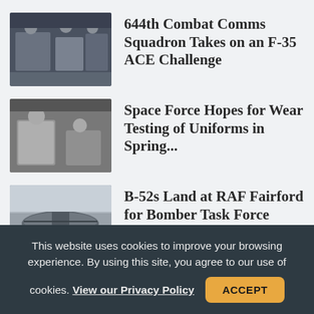644th Combat Comms Squadron Takes on an F-35 ACE Challenge
Space Force Hopes for Wear Testing of Uniforms in Spring...
B-52s Land at RAF Fairford for Bomber Task Force Mission
Report: Air Force, Other Services Need to Clarify
This website uses cookies to improve your browsing experience. By using this site, you agree to our use of cookies. View our Privacy Policy ACCEPT